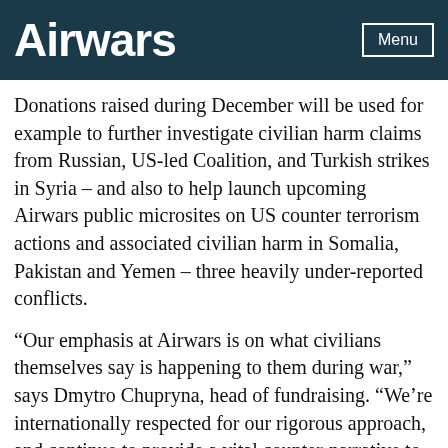Airwars
Donations raised during December will be used for example to further investigate civilian harm claims from Russian, US-led Coalition, and Turkish strikes in Syria – and also to help launch upcoming Airwars public microsites on US counter terrorism actions and associated civilian harm in Somalia, Pakistan and Yemen – three heavily under-reported conflicts.
“Our emphasis at Airwars is on what civilians themselves say is happening to them during war,” says Dmytro Chupryna, head of fundraising. “We’re internationally respected for our rigorous approach, and continue to provide a vital counter-narrative to military claims that modern warfare